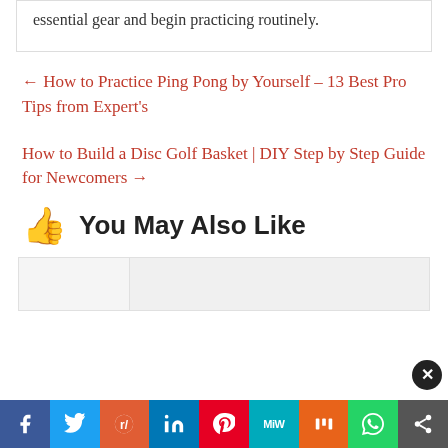essential gear and begin practicing routinely.
← How to Practice Ping Pong by Yourself – 13 Best Pro Tips from Expert's
How to Build a Disc Golf Basket | DIY Step by Step Guide for Newcomers →
👍 You May Also Like
[Figure (other): Thumbnail card row placeholder]
[Figure (other): Social share bar with Facebook, Twitter, Reddit, LinkedIn, Pinterest, MiW, Mix, WhatsApp, More buttons]